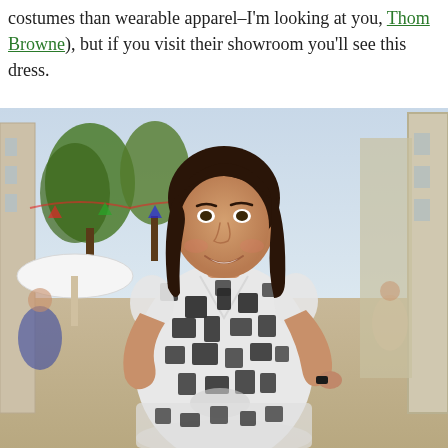costumes than wearable apparel–I'm looking at you, Thom Browne), but if you visit their showroom you'll see this dress.
[Figure (photo): A smiling woman with long dark brown hair stands outdoors on a European-style street. She is wearing a black and white geometric/abstract patterned dress with short sleeves and a wrap-style top. She has one hand on her hip. The background shows a busy pedestrian street with trees, outdoor cafe umbrellas, string decorations, and buildings on either side.]